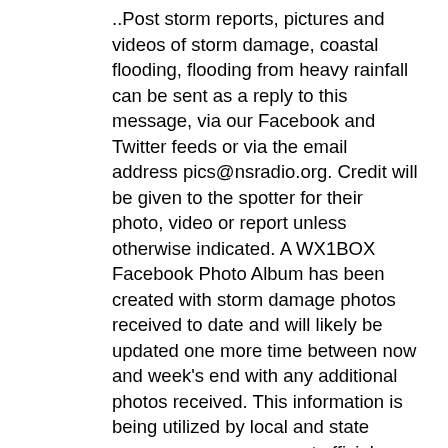..Post storm reports, pictures and videos of storm damage, coastal flooding, flooding from heavy rainfall can be sent as a reply to this message, via our Facebook and Twitter feeds or via the email address pics@nsradio.org. Credit will be given to the spotter for their photo, video or report unless otherwise indicated. A WX1BOX Facebook Photo Album has been created with storm damage photos received to date and will likely be updated one more time between now and week's end with any additional photos received. This information is being utilized by local and state emergency management officials and is helpful for damage assessment to determine a possible federal disaster declaration for this event.. ..There will be a final post storm coordination message from this major nor'easter posted by the end of November. Below is the ARRL Web story on Amateur Radio efforts during the major nor'easter, WX1BOX Facebook Photo Album, NWS Boston/Norton Public